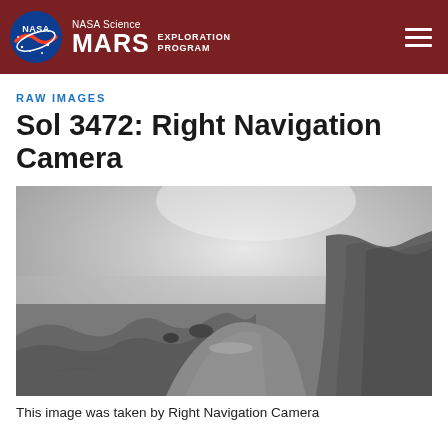NASA Science MARS EXPLORATION PROGRAM
RAW IMAGES
Sol 3472: Right Navigation Camera
[Figure (photo): Black and white Mars surface photograph taken by Right Navigation Camera on Sol 3472. The image shows a rocky Martian landscape with a valley or depression in the center-left, rocky terrain and hillside rising on the right, and a bright, hazy sky filling the upper half of the frame.]
This image was taken by Right Navigation Camera